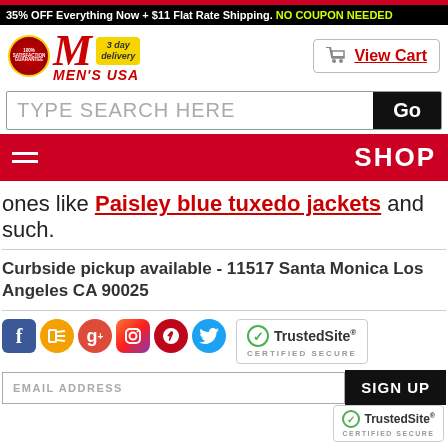complete the look using a pair of white leather low top
35% OFF Everything Now + $11 Flat Rate Shipping. NO COUPON NEEDED
[Figure (logo): Men's USA logo with 100% Satisfaction Guarantee badge, large red italic M, 3 day delivery badge]
View Cart
TYPE SEARCH HERE
Go
SHOP
ones like Paisley blue tuxedo jackets and such.
Curbside pickup available - 11517 Santa Monica Los Angeles CA 90025
[Figure (logo): TrustedSite Certified Secure badge]
[Figure (other): Social media icons: Facebook, RSS, Google+, Instagram, Pinterest, Twitter]
EMAIL ADDRESS
SIGN UP
[Figure (logo): TrustedSite Certified Secure badge bottom right]